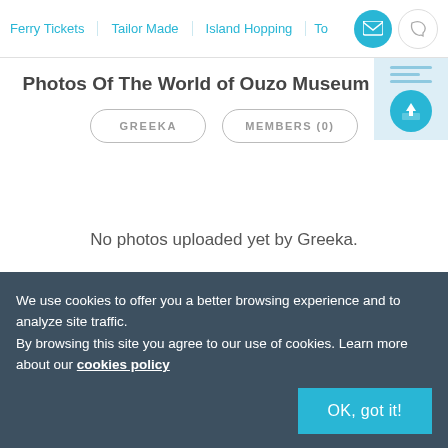Ferry Tickets | Tailor Made | Island Hopping | To...
Photos Of The World of Ouzo Museum
GREEKA
MEMBERS (0)
No photos uploaded yet by Greeka.
We use cookies to offer you a better browsing experience and to analyze site traffic.
By browsing this site you agree to our use of cookies. Learn more about our cookies policy
OK, got it!